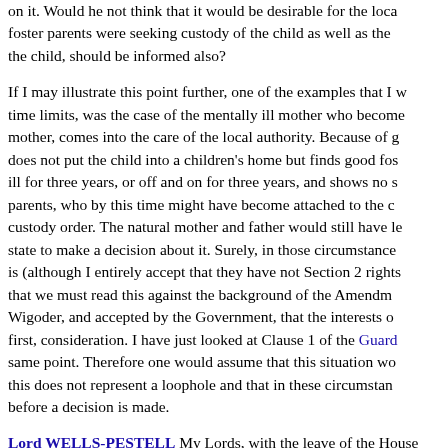on it. Would he not think that it would be desirable for the local foster parents were seeking custody of the child as well as the the child, should be informed also?
If I may illustrate this point further, one of the examples that I w time limits, was the case of the mentally ill mother who become mother, comes into the care of the local authority. Because of g does not put the child into a children's home but finds good fos ill for three years, or off and on for three years, and shows no s parents, who by this time might have become attached to the c custody order. The natural mother and father would still have le state to make a decision about it. Surely, in those circumstance is (although I entirely accept that they have not Section 2 rights that we must read this against the background of the Amendm Wigoder, and accepted by the Government, that the interests o first, consideration. I have just looked at Clause 1 of the Guard same point. Therefore one would assume that this situation wo this does not represent a loophole and that in these circumstan before a decision is made.
Lord WELLS-PESTELL My Lords, with the leave of the House